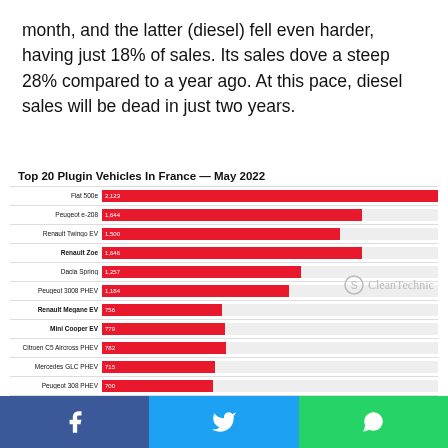month, and the latter (diesel) fell even harder, having just 18% of sales. Its sales dove a steep 28% compared to a year ago. At this pace, diesel sales will be dead in just two years.
[Figure (bar-chart): Top 20 Plugin Vehicles In France — May 2022]
Facebook | Twitter | WhatsApp